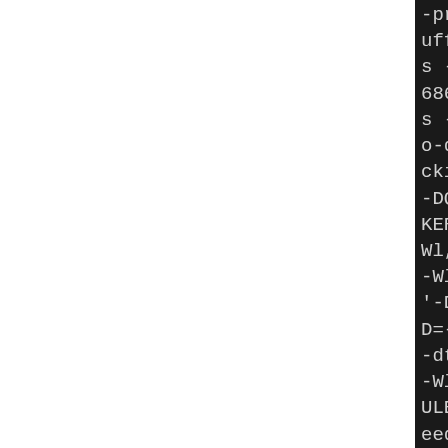[Figure (screenshot): Terminal/console output showing compiler and linker flags from a CMake build configuration. Dark background with monospace text, partially clipped on right side. Left portion of page is white.]